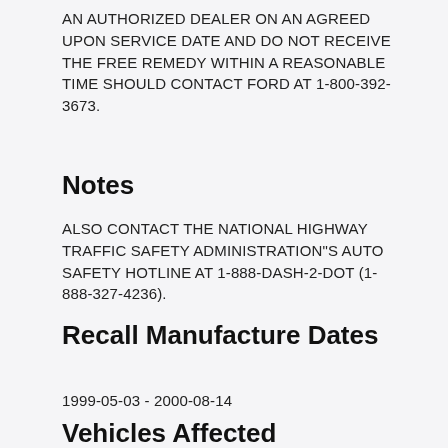AN AUTHORIZED DEALER ON AN AGREED UPON SERVICE DATE AND DO NOT RECEIVE THE FREE REMEDY WITHIN A REASONABLE TIME SHOULD CONTACT FORD AT 1-800-392-3673.
Notes
ALSO CONTACT THE NATIONAL HIGHWAY TRAFFIC SAFETY ADMINISTRATION"S AUTO SAFETY HOTLINE AT 1-888-DASH-2-DOT (1-888-327-4236).
Recall Manufacture Dates
1999-05-03 - 2000-08-14
Vehicles Affected